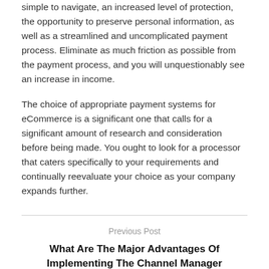simple to navigate, an increased level of protection, the opportunity to preserve personal information, as well as a streamlined and uncomplicated payment process. Eliminate as much friction as possible from the payment process, and you will unquestionably see an increase in income.
The choice of appropriate payment systems for eCommerce is a significant one that calls for a significant amount of research and consideration before being made. You ought to look for a processor that caters specifically to your requirements and continually reevaluate your choice as your company expands further.
Previous Post
What Are The Major Advantages Of Implementing The Channel Manager Software?